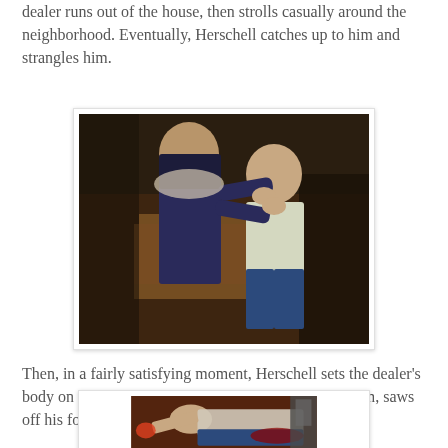dealer runs out of the house, then strolls casually around the neighborhood. Eventually, Herschell catches up to him and strangles him.
[Figure (photo): A scene from a film showing one person strangling another person indoors, surrounded by wooden furniture and equipment.]
Then, in a fairly satisfying moment, Herschell sets the dealer's body on a table saw and, metaphorically castrating him, saws off his foot.
[Figure (photo): A scene from a film showing a person lying on a table saw with blood visible, set in an industrial-looking space.]